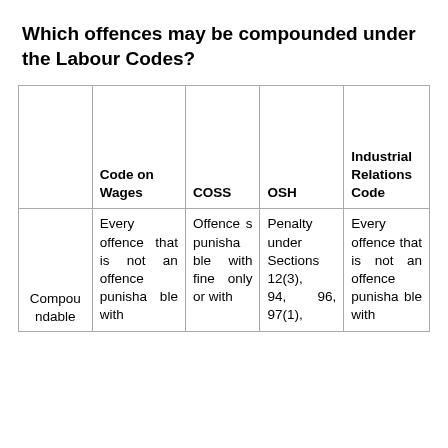Which offences may be compounded under the Labour Codes?
|  | Code on Wages | COSS | OSH | Industrial Relations Code |
| --- | --- | --- | --- | --- |
| Compoundable | Every offence that is not an offence punishable with | Offences punishable with fine only or with | Penalty under Sections 12(3), 94, 96, 97(1), | Every offence that is not an offence punishable with |